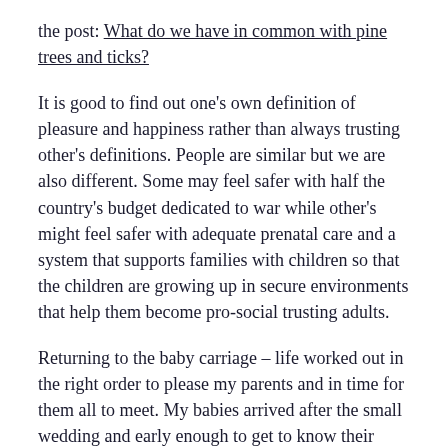the post: What do we have in common with pine trees and ticks?
It is good to find out one's own definition of pleasure and happiness rather than always trusting other's definitions. People are similar but we are also different. Some may feel safer with half the country's budget dedicated to war while other's might feel safer with adequate prenatal care and a system that supports families with children so that the children are growing up in secure environments that help them become pro-social trusting adults.
Returning to the baby carriage – life worked out in the right order to please my parents and in time for them all to meet. My babies arrived after the small wedding and early enough to get to know their grandparents before they passed on to whatever may happen next. Marrying young may have difficulties however there are also